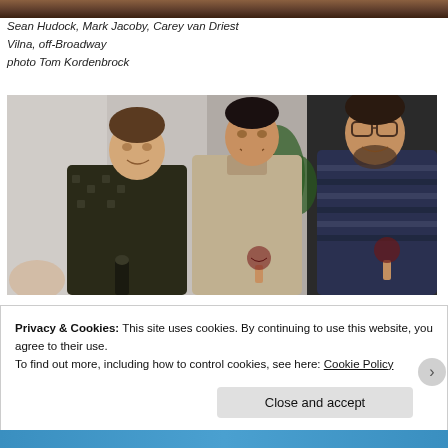[Figure (photo): Top portion of a theatrical production photo, showing the top edge of the image]
Sean Hudock, Mark Jacoby, Carey van Driest
Vilna, off-Broadway
photo Tom Kordenbrock
[Figure (photo): Three men at a party/gathering scene. Left: man in dark patterned shirt holding a dark bottle. Center: man in beige/tan long-sleeve shirt. Right: man in striped sweater holding a wine glass. Background shows a plant and other guests.]
Privacy & Cookies: This site uses cookies. By continuing to use this website, you agree to their use.
To find out more, including how to control cookies, see here: Cookie Policy
Close and accept